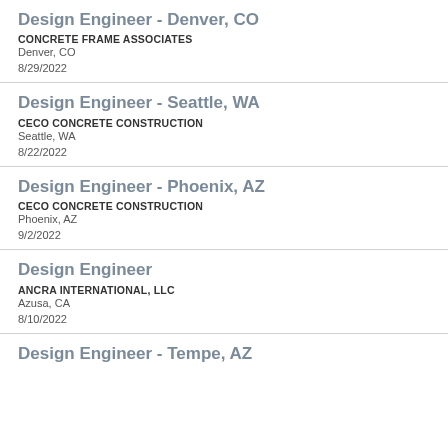Design Engineer - Denver, CO
CONCRETE FRAME ASSOCIATES
Denver, CO
8/29/2022
Design Engineer - Seattle, WA
CECO CONCRETE CONSTRUCTION
Seattle, WA
8/22/2022
Design Engineer - Phoenix, AZ
CECO CONCRETE CONSTRUCTION
Phoenix, AZ
9/2/2022
Design Engineer
ANCRA INTERNATIONAL, LLC
Azusa, CA
8/10/2022
Design Engineer - Tempe, AZ